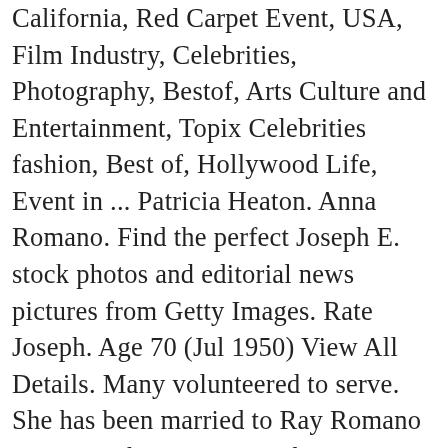California, Red Carpet Event, USA, Film Industry, Celebrities, Photography, Bestof, Arts Culture and Entertainment, Topix Celebrities fashion, Best of, Hollywood Life, Event in ... Patricia Heaton. Anna Romano. Find the perfect Joseph E. stock photos and editorial news pictures from Getty Images. Rate Joseph. Age 70 (Jul 1950) View All Details. Many volunteered to serve. She has been married to Ray Romano since October 11, 1987. This is Me - Control Profile. Ray, who holds multiple roles within Hollywood as a stand-up comedian, screenwriter and voice actor, is best known for his roles on Everybody Loves Raymond and in the Ice Age film series. Unit. Criminal or Civil Court records found on Joseph's Family, Friends, Neighbors, or Classmates View Details. 19 Profile Searches Follow. The second best result is Raymond Ja Romano age 40s in Vienna, VA. Review. She is an actress and